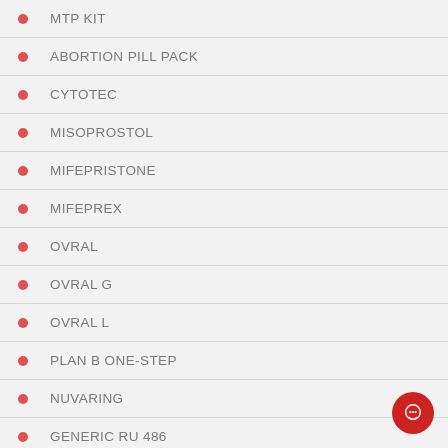MTP KIT
ABORTION PILL PACK
CYTOTEC
MISOPROSTOL
MIFEPRISTONE
MIFEPREX
OVRAL
OVRAL G
OVRAL L
PLAN B ONE-STEP
NUVARING
GENERIC RU 486